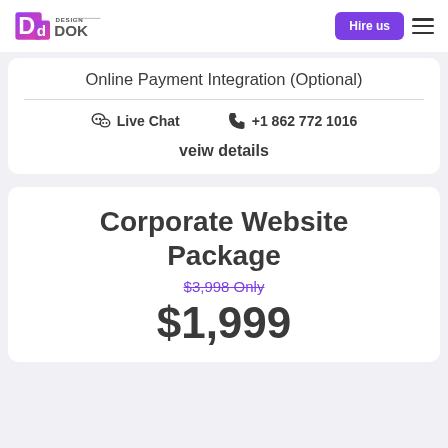Design DOK — Hire us
Online Payment Integration (Optional)
Live Chat   +1 862 772 1016
veiw details
Corporate Website Package
$3,998 Only
$1,999